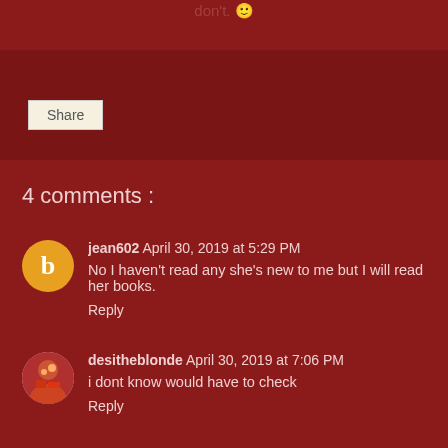don't. 🙂
Share
4 comments :
jean602  April 30, 2019 at 5:29 PM
No I haven't read any she's new to me but I will read her books.
Reply
desitheblonde  April 30, 2019 at 7:06 PM
i dont know would have to check
Reply